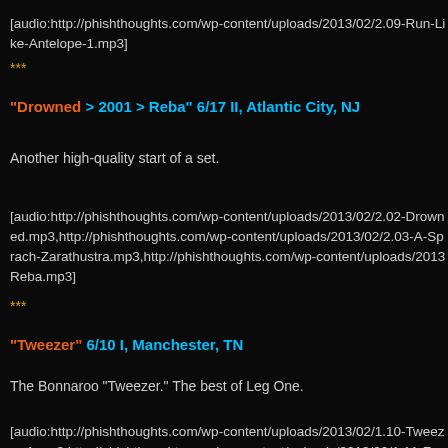[audio:http://phishthoughts.com/wp-content/uploads/2013/02/2.09-Run-Like-Antelope-1.mp3]
***
"Drowned > 2001 > Reba" 6/17 II, Atlantic City, NJ
Another high-quality start of a set.
[audio:http://phishthoughts.com/wp-content/uploads/2013/02/2.02-Drowned.mp3,http://phishthoughts.com/wp-content/uploads/2013/02/2.03-A-Sprach-Zarathustra.mp3,http://phishthoughts.com/wp-content/uploads/2013/...Reba.mp3]
***
"Tweezer" 6/10 I, Manchester, TN
The Bonnaroo "Tweezer." The best of Leg One.
[audio:http://phishthoughts.com/wp-content/uploads/2013/02/1.10-Tweezer-1.mp3,http://phishthoughts.com/wp-content/uploads/2013/02/1.11-Free.mp3]
[polldaddy poll=6905651]
[polldaddy poll=6905648]
[polldaddy poll=6905665]